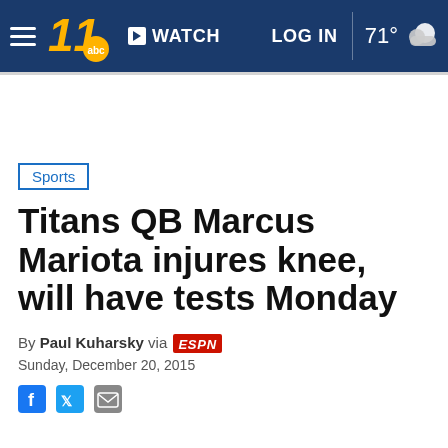WATCH  LOG IN  71°
Sports
Titans QB Marcus Mariota injures knee, will have tests Monday
By Paul Kuharsky via ESPN
Sunday, December 20, 2015